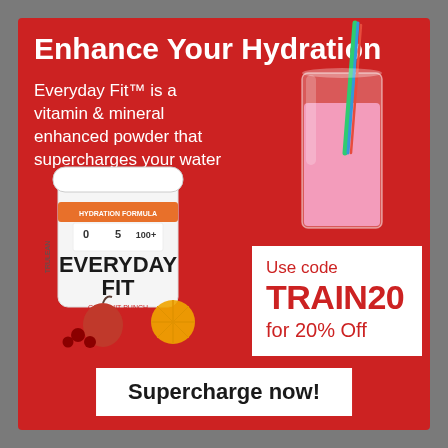Enhance Your Hydration
Everyday Fit™ is a vitamin & mineral enhanced powder that supercharges your water
[Figure (photo): Pink drink in a tall glass with a colorful striped straw]
[Figure (photo): TruLean Everyday Fit hydration formula powder container with fruit around it]
Use code TRAIN20 for 20% Off
Supercharge now!